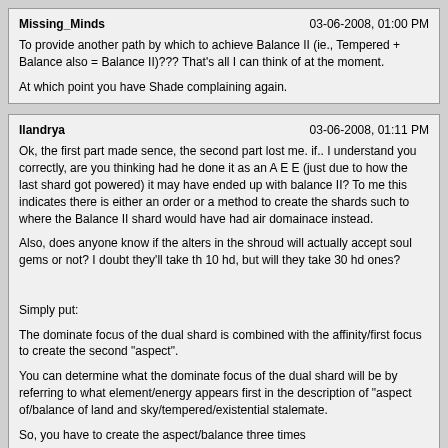| Username | Date |
| --- | --- |
| Missing_Minds | 03-06-2008, 01:00 PM |
To provide another path by which to achieve Balance II (ie., Tempered + Balance also = Balance II)??? That's all I can think of at the moment.

At which point you have Shade complaining again.
| Username | Date |
| --- | --- |
| Ilandrya | 03-06-2008, 01:11 PM |
Ok, the first part made sence, the second part lost me. if.. I understand you correctly, are you thinking had he done it as an A E E (just due to how the last shard got powered) it may have ended up with balance II? To me this indicates there is either an order or a method to create the shards such to where the Balance II shard would have had air domainace instead.

Also, does anyone know if the alters in the shroud will actually accept soul gems or not? I doubt they'll take th 10 hd, but will they take 30 hd ones?

Simply put:

The dominate focus of the dual shard is combined with the affinity/first focus to create the second "aspect".

You can determine what the dominate focus of the dual shard will be by referring to what element/energy appears first in the description of "aspect of/balance of land and sky/tempered/existential stalemate.

So, you have to create the aspect/balance three times

once on your item with the first and second focus
once on your shard with the third and fourth focus
again on your item using the dominate focus on the dual shard, and the affinity/first focus